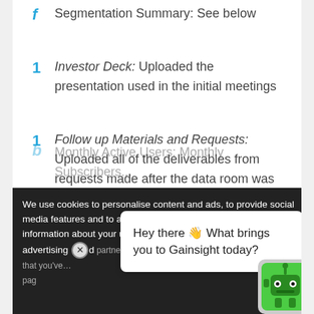f  Segmentation Summary: See below
1  Investor Deck: Uploaded the presentation used in the initial meetings
1  Follow up Materials and Requests: Uploaded all of the deliverables from requests made after the data room was opened; if one investor asked for something, we shared it with all of the firms…
We use cookies to personalise content and ads, to provide social media features and to analyse our traffic. We also share information about your use of our site with our social media, advertising and analytics partners who may combine it with other information that you've provided to them or that they've collected from your use of their services. You consent to our cookies if you continue to use our website. page
Hey there 👋 What brings you to Gainsight today?
b  Monthly Active Users: Monthly Subscribers…